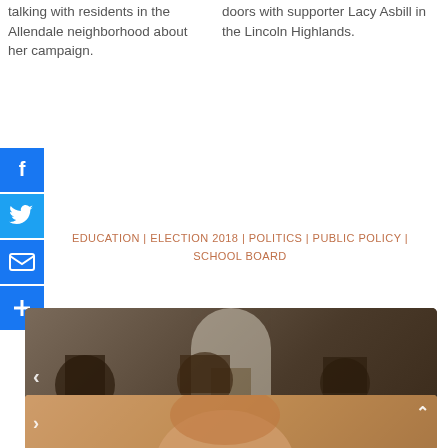talking with residents in the Allendale neighborhood about her campaign.
doors with supporter Lacy Asbill in the Lincoln Highlands.
[Figure (other): Facebook share icon - blue square with white F]
[Figure (other): Twitter share icon - blue square with white bird]
[Figure (other): Email share icon - blue square with white envelope]
[Figure (other): Share icon - blue square with white plus]
EDUCATION | ELECTION 2018 | POLITICS | PUBLIC POLICY | SCHOOL BOARD
[Figure (photo): Community members at OUSD school board meeting holding protest signs reading BRING and HOW DO YOU with arch doorway visible in background]
Community members tell OUSD school board to reinstate free supper program
[Figure (photo): Second carousel image thumbnail showing a person, partially visible]